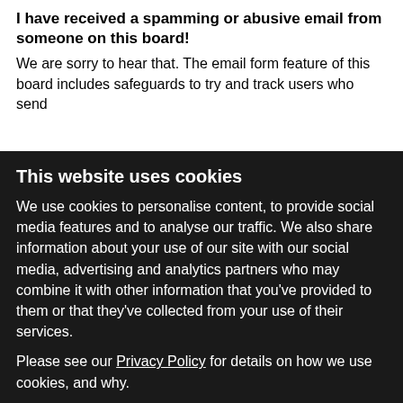I have received a spamming or abusive email from someone on this board!
We are sorry to hear that. The email form feature of this board includes safeguards to try and track users who send
This website uses cookies
We use cookies to personalise content, to provide social media features and to analyse our traffic. We also share information about your use of our site with our social media, advertising and analytics partners who may combine it with other information that you've provided to them or that they've collected from your use of their services.
Please see our Privacy Policy for details on how we use cookies, and why.
Use necessary cookies only
Allow all cookies
Show details